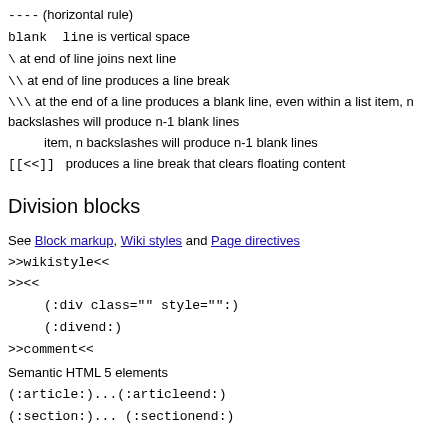---- (horizontal rule)
blank  line is vertical space
\ at end of line joins next line
\\ at end of line produces a line break
\\\ at the end of a line produces a blank line, even within a list item, n backslashes will produce n-1 blank lines
[[<<]]   produces a line break that clears floating content
Division blocks
See Block markup, Wiki styles and Page directives
>>wikistyle<<
>><< 
  (:div class="" style="":)
  (:divend:)
>>comment<<
Semantic HTML 5 elements
(:article:)...(:articleend:)
(:section:)... (:sectionend:)